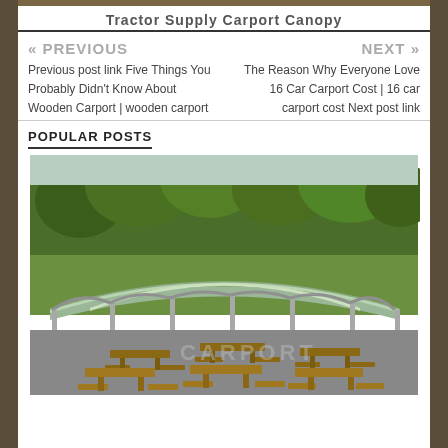Tractor Supply Carport Canopy
« PREVIOUS
Previous post link Five Things You Probably Didn't Know About Wooden Carport | wooden carport
NEXT »
The Reason Why Everyone Love 16 Car Carport Cost | 16 car carport cost Next post link
POPULAR POSTS
[Figure (photo): A large metal carport/canopy structure with a curved green roof, supported by metal poles, sheltering multiple wooden picnic tables. Green lawn and trees visible in background.]